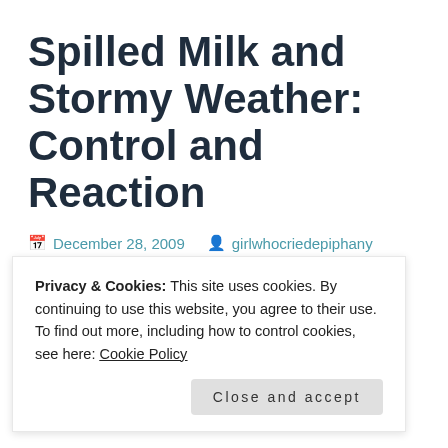Spilled Milk and Stormy Weather: Control and Reaction
December 28, 2009   girlwhocriedepiphany
4 Comments
[Figure (photo): Partial photo of a house exterior with siding and windows, bare winter trees, and a light blue sky in the background.]
Privacy & Cookies: This site uses cookies. By continuing to use this website, you agree to their use.
To find out more, including how to control cookies, see here: Cookie Policy
Close and accept